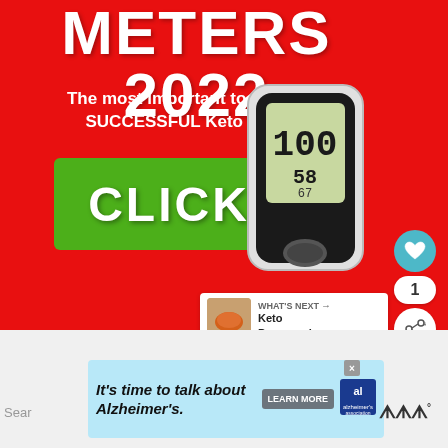[Figure (infographic): Advertisement for glucose meters 2022 on red background with green CLICK button and glucose meter device image. Shows title 'METERS 2022', subtitle about keto diet, click button, heart/share social icons, and 'What's Next: Keto Pepperoni...' panel]
METERS 2022
The most important tool for a SUCCESSFUL Keto Diet.
[Figure (other): Green CLICK button]
[Figure (other): Blood glucose meter device showing reading 100, 58]
WHAT'S NEXT → Keto Pepperoni...
[Figure (infographic): Alzheimer's awareness ad banner: It's time to talk about Alzheimer's. LEARN MORE. alzheimer's association logo.]
It's time to talk about Alzheimer's.
Sear